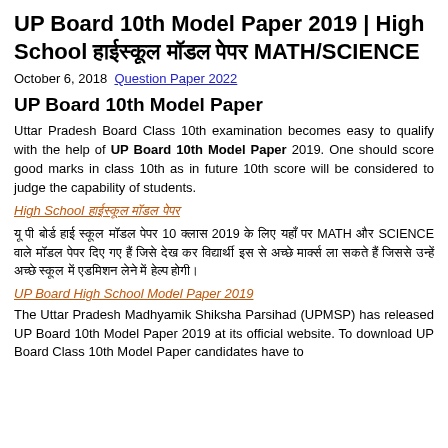UP Board 10th Model Paper 2019 | High School हाईस्कूल मॉडल पेपर MATH/SCIENCE
October 6, 2018  Question Paper 2022
UP Board 10th Model Paper
Uttar Pradesh Board Class 10th examination becomes easy to qualify with the help of UP Board 10th Model Paper 2019. One should score good marks in class 10th as in future 10th score will be considered to judge the capability of students.
High School हाईस्कूल मॉडल पेपर
यू पी बोर्ड हाई स्कूल मॉडल पेपर 10 क्लास 2019 के लिए यहाँ पर MATH और SCIENCE वाले मॉडल पेपर दिए गए हैं जिसे देख कर विद्यार्थी इस से अच्छे मार्क्स ला सकते हैं जिससे उन्हें अच्छे स्कूल में एडमिशन लेने में हेल्प होगी।
UP Board High School Model Paper 2019
The Uttar Pradesh Madhyamik Shiksha Parsihad (UPMSP) has released UP Board 10th Model Paper 2019 at its official website. To download UP Board Class 10th Model Paper candidates have to